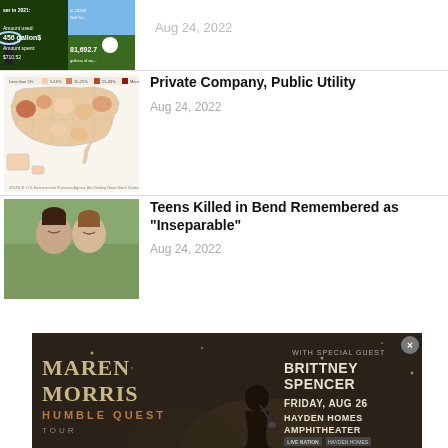[Figure (infographic): Infographic thumbnail about water usage in 2021, showing amount used: 456 gallons, amount spent: $710.52, and In 2021 Golf Co... 81,692.7 gallons of wa...]
Aug 24, 2022
[Figure (map): Map of USA showing Ownership of Community Water Systems by Service Population (2018), with legend showing Less than 5%, 5-19%, 15-25%, 25-33%, More 8]
Private Company, Public Utility
Aug 24, 2022
[Figure (photo): Photo of two teenagers, a boy and a girl, smiling outdoors]
Teens Killed in Bend Remembered as "Inseparable"
Aug 24, 2022
[Figure (infographic): Advertisement for Maren Morris Humble Quest Tour with special guest Brittney Spencer, Friday Aug 26, Hayden Homes Amphitheater]